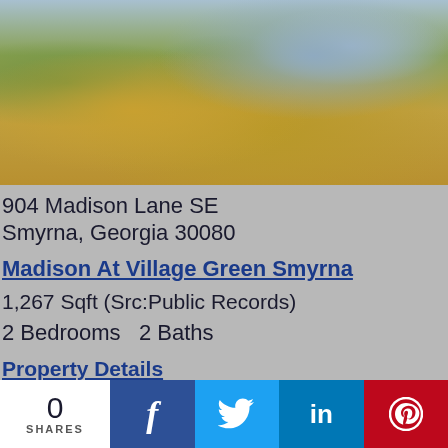[Figure (photo): Exterior photo of Madison At Village Green Smyrna apartment complex showing building facade, landscaping with shrubs and mulch, walkway, and trees]
904 Madison Lane SE
Smyrna, Georgia 30080
Madison At Village Green Smyrna
1,267 Sqft (Src:Public Records)
2 Bedrooms   2 Baths
Property Details
Request Information